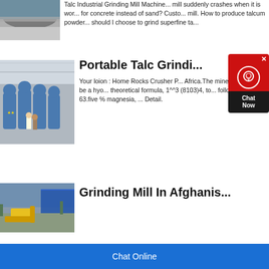[Figure (photo): Industrial mining/talc grinding site with powder/rubble on the ground]
Talc Industrial Grinding Mill Machine... mill suddenly crashes when it is wor... for concrete instead of sand? Custo... mill. How to produce talcum powder... should I choose to grind superfine ta...
[Figure (photo): Industrial factory interior with blue grinding mill machines and workers]
Portable Talc Grindi...
Your loion : Home Rocks Crusher P... Africa.The mineral talc can be a hyo... theoretical formula, 1^^3 (8103)4, to... follows: silica, 63.five % magnesia, ... Detail.
[Figure (photo): Construction/mining site with yellow excavator and blue building]
Grinding Mill In Afghanis...
[Figure (screenshot): Chat Now widget overlay with red background and white headset icon]
Chat Online